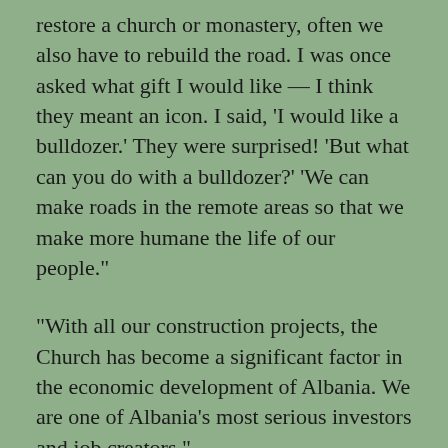restore a church or monastery, often we also have to rebuild the road. I was once asked what gift I would like — I think they meant an icon. I said, ‘I would like a bulldozer.’ They were surprised! ‘But what can you do with a bulldozer?’ ‘We can make roads in the remote areas so that we make more humane the life of our people.”
“With all our construction projects, the Church has become a significant factor in the economic development of Albania. We are one of Albania’s most serious investors and job creators.”
There is not only the on-going task of